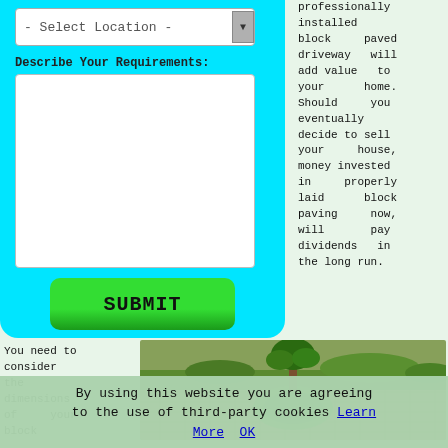[Figure (screenshot): A cyan/turquoise form panel with a Select Location dropdown, a Describe Your Requirements text area, and a green SUBMIT button.]
professionally installed block paved driveway will add value to your home. Should you eventually decide to sell your house, money invested in properly laid block paving now, will pay dividends in the long run.
You need to consider the dimensions of your block
[Figure (photo): Aerial/ground-level photo of a brick-paved circular driveway with a tree and round green shrub in the centre, surrounded by garden landscaping.]
By using this website you are agreeing to the use of third-party cookies Learn More  OK